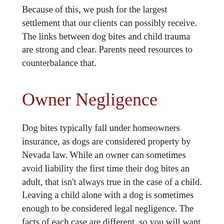Because of this, we push for the largest settlement that our clients can possibly receive. The links between dog bites and child trauma are strong and clear. Parents need resources to counterbalance that.
Owner Negligence
Dog bites typically fall under homeowners insurance, as dogs are considered property by Nevada law. While an owner can sometimes avoid liability the first time their dog bites an adult, that isn't always true in the case of a child. Leaving a child alone with a dog is sometimes enough to be considered legal negligence. The facts of each case are different, so you will want to consult our lawyers with any questions.
Serious Injuries Need Serious